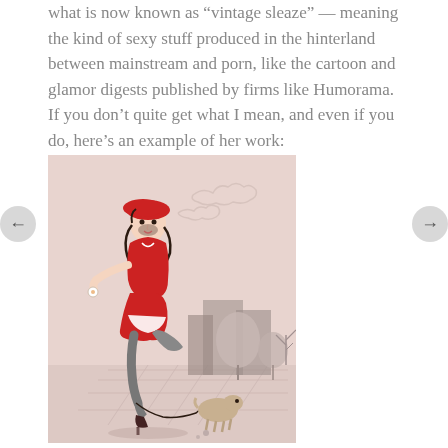what is now known as 'vintage sleaze' — meaning the kind of sexy stuff produced in the hinterland between mainstream and porn, like the cartoon and glamor digests published by firms like Humorama. If you don't quite get what I mean, and even if you do, here's an example of her work:
[Figure (illustration): Vintage pin-up style illustration of a woman in red outfit and beret, with dark hair, being tangled by a small dog on a leash while walking outdoors. Background shows stylized trees and buildings in grey tones on a pink/beige background.]